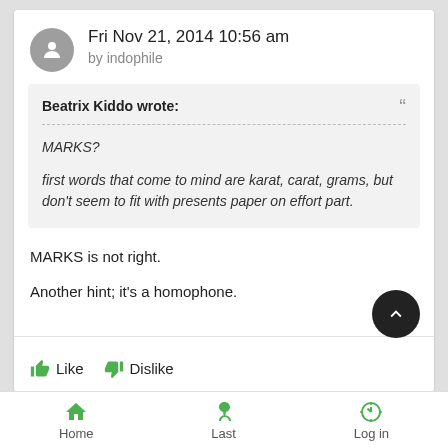Fri Nov 21, 2014 10:56 am
by indophile
Beatrix Kiddo wrote:
MARKS?

first words that come to mind are karat, carat, grams, but don't seem to fit with presents paper on effort part.
MARKS is not right.
Another hint; it's a homophone.
Like  Dislike
Home  Last  Log in